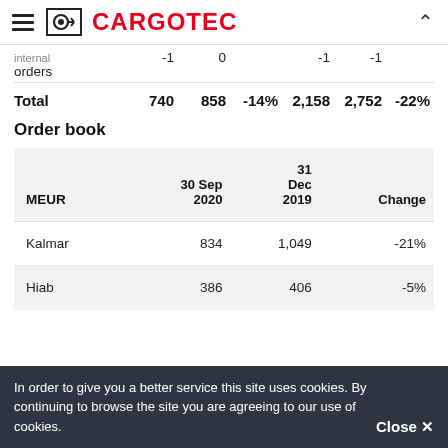CARGOTEC
|  |  |  |  |  |  |  |
| --- | --- | --- | --- | --- | --- | --- |
| internal orders | -1 | 0 |  | -1 | -1 |  |
| Total | 740 | 858 | -14% | 2,158 | 2,752 | -22% |
Order book
| MEUR | 30 Sep 2020 | 31 Dec 2019 | Change |
| --- | --- | --- | --- |
| Kalmar | 834 | 1,049 | -21% |
| Hiab | 386 | 406 | -5% |
In order to give you a better service this site uses cookies. By continuing to browse the site you are agreeing to our use of cookies. Close ×